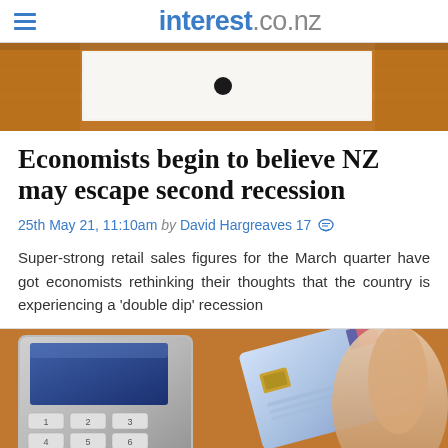interest.co.nz
[Figure (photo): Partial top of article image showing a wooden surface with a white paper/card on it and a dark circular object, cropped at top of page]
Economists begin to believe NZ may escape second recession
25th May 21, 11:10am by David Hargreaves 17
Super-strong retail sales figures for the March quarter have got economists rethinking their thoughts that the country is experiencing a 'double dip' recession
[Figure (photo): Close-up photo of a hand inserting a credit/debit card into an EFTPOS payment terminal, with an orange/wooden table surface visible in the background]